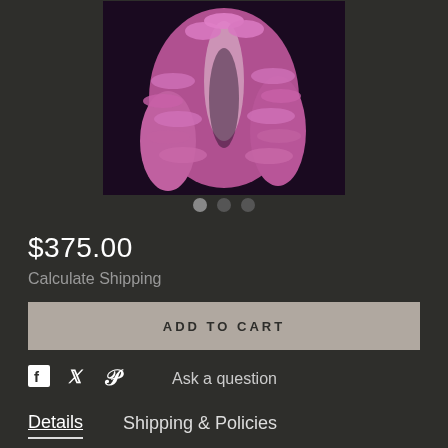[Figure (photo): A pink/mauve fluffy ruffled scarf or boa garment displayed against a dark background, worn over a white top]
$375.00
Calculate Shipping
ADD TO CART
Ask a question
Details
Shipping & Policies